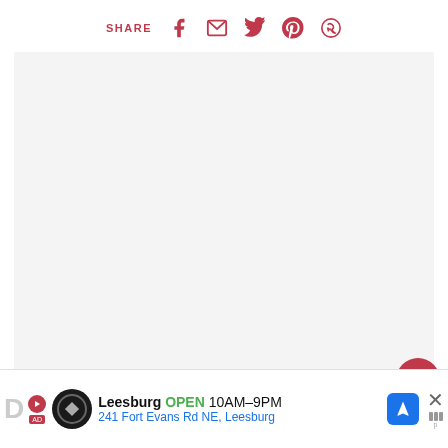SHARE
[Figure (screenshot): Large light gray image placeholder area]
521
WHAT'S NEXT → Solar Plant Pot Water...
Leesburg OPEN 10AM–9PM 241 Fort Evans Rd NE, Leesburg